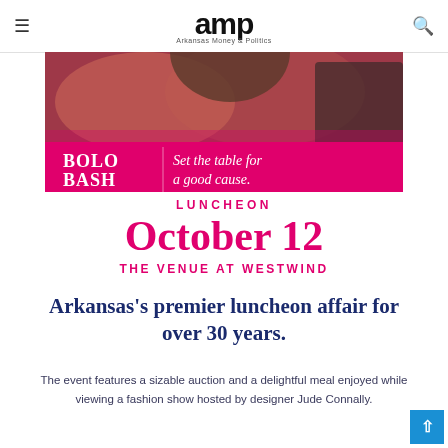amp Arkansas Money & Politics
[Figure (photo): Bolo Bash promotional banner showing a dining event scene with text 'BOLO BASH – Set the table for a good cause.' on a pink background]
LUNCHEON
October 12
THE VENUE AT WESTWIND
Arkansas's premier luncheon affair for over 30 years.
The event features a sizable auction and a delightful meal enjoyed while viewing a fashion show hosted by designer Jude Connally.